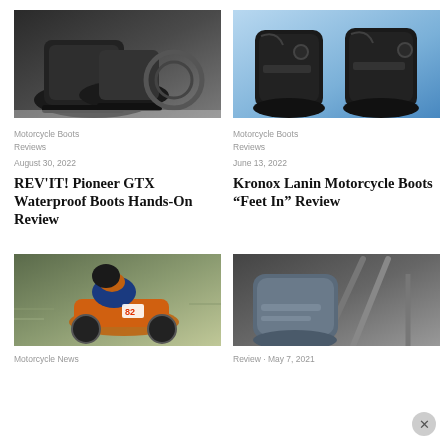[Figure (photo): Close-up of motorcycle boots on a motorcycle, dark/black colors]
[Figure (photo): Pair of black Kronox Lanin motorcycle boots on blue background]
Motorcycle Boots
Reviews
Motorcycle Boots
Reviews
August 30, 2022
June 13, 2022
REV'IT! Pioneer GTX Waterproof Boots Hands-On Review
Kronox Lanin Motorcycle Boots “Feet In” Review
[Figure (photo): Motorcycle racer on track, colorful racing suit, blurred background]
[Figure (photo): Close-up of motorcycle boot near engine/frame, dark gray tones]
Motorcycle News
Review · May 7, 2021